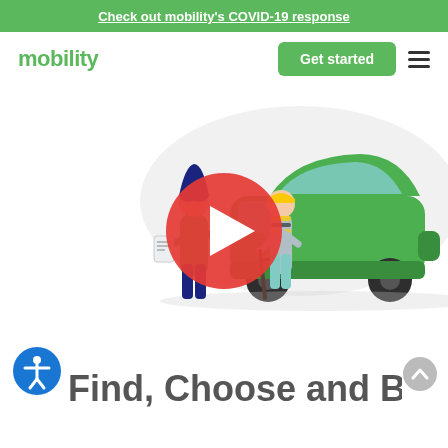Check out mobility's COVID-19 response
mobility
Get started
[Figure (illustration): Illustration of a woman in green helping an elderly man with a cane next to a green car, with a red play button circle overlay in the center]
Find, Choose and Book